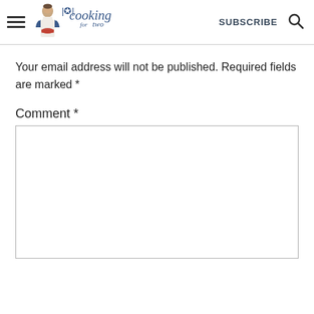cooking for two — SUBSCRIBE
Your email address will not be published. Required fields are marked *
Comment *